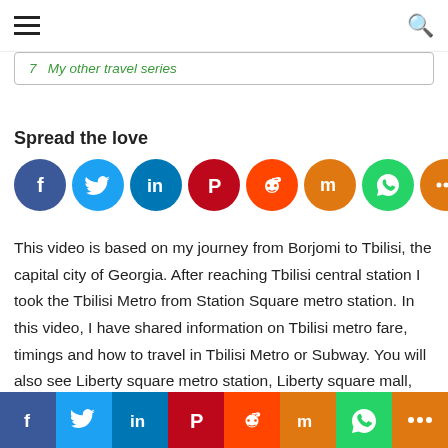navigation header with hamburger menu and search icon
7  My other travel series
Spread the love
[Figure (infographic): Social sharing icons: Facebook (dark blue circle), Twitter (light blue circle), LinkedIn (blue circle), Pinterest (dark red circle), Reddit (orange-red circle), Mix (orange circle), WhatsApp (green circle), More (orange circle)]
This video is based on my journey from Borjomi to Tbilisi, the capital city of Georgia. After reaching Tbilisi central station I took the Tbilisi Metro from Station Square metro station. In this video, I have shared information on Tbilisi metro fare, timings and how to travel in Tbilisi Metro or Subway. You will also see Liberty square metro station, Liberty square mall, vegetarian Georgian Dishes, cost of vegetarian food in Tbilisi, etc.
Borjomi to Tbilisi in a Marshrutka
[Figure (infographic): Bottom social sharing bar with icons: Facebook (dark blue), Twitter (light blue), LinkedIn (blue), Pinterest (dark red), Reddit (orange-red), Mix (orange), WhatsApp (green), More (orange)]